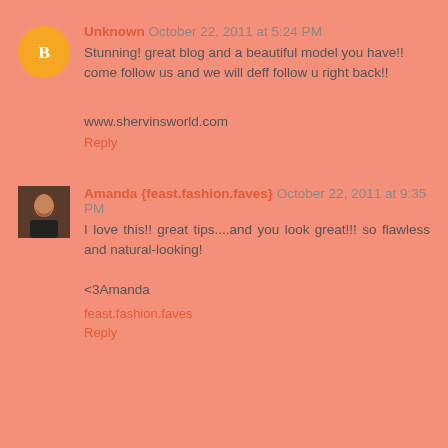Unknown October 22, 2011 at 5:24 PM
Stunning! great blog and a beautiful model you have!! come follow us and we will deff follow u right back!!
www.shervinsworld.com
Reply
Amanda {feast.fashion.faves} October 22, 2011 at 9:35 PM
I love this!! great tips....and you look great!!! so flawless and natural-looking!

<3Amanda
feast.fashion.faves
Reply